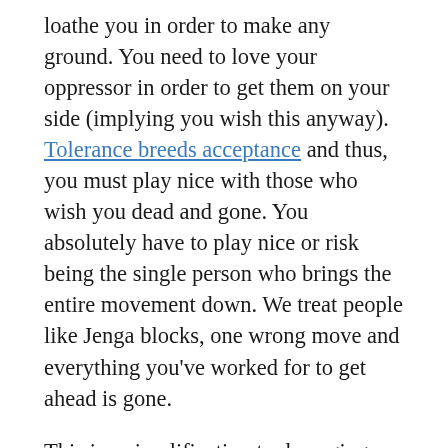loathe you in order to make any ground. You need to love your oppressor in order to get them on your side (implying you wish this anyway). Tolerance breeds acceptance and thus, you must play nice with those who wish you dead and gone. You absolutely have to play nice or risk being the single person who brings the entire movement down. We treat people like Jenga blocks, one wrong move and everything you've worked for to get ahead is gone.
This is a simplification to damaging degrees. It implies that the reactions of one person represent the entire group and that for oppression to be gone, one must be tolerant